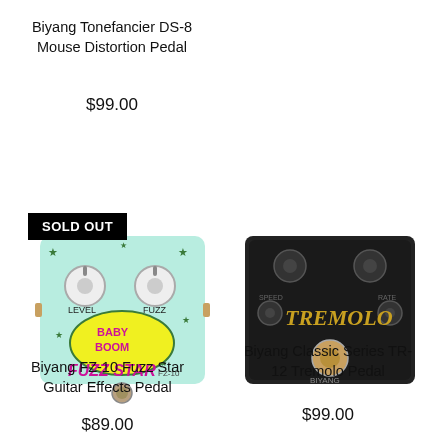Biyang Tonefancier DS-8 Mouse Distortion Pedal
$99.00
[Figure (photo): Biyang FZ-10 Fuzz Star guitar effects pedal - light blue/mint colored pedal with green stars, two white knobs labeled LEVEL and FUZZ, BABY BOOM graphic, FUZZ STAR text in pink/magenta]
SOLD OUT
Biyang FZ-10 Fuzz Star Guitar Effects Pedal
$89.00
[Figure (photo): Biyang Classic Series TR-12 Tremolo Pedal - dark/black colored pedal with gold TREMOLO lettering, multiple black knobs on top]
Biyang Classic Series TR-12 Tremolo Pedal
$99.00